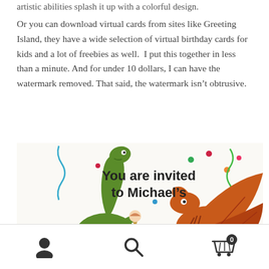artistic abilities splash it up with a colorful design.
Or you can download virtual cards from sites like Greeting Island, they have a wide selection of virtual birthday cards for kids and a lot of freebies as well.  I put this together in less than a minute. And for under 10 dollars, I can have the watermark removed. That said, the watermark isn't obtrusive.
[Figure (illustration): A birthday party invitation card featuring cartoon dinosaurs. A green long-neck dinosaur (brachiosaurus) holding an ice cream cone on the left, and an orange pterodactyl on the right, both holding a teal banner reading 'BIRTHDAY PARTY'. Text above reads 'You are invited to Michael's'. Colorful confetti dots and curly ribbons decorate the background.]
Navigation bar with user icon, search icon, and cart icon with badge showing 0